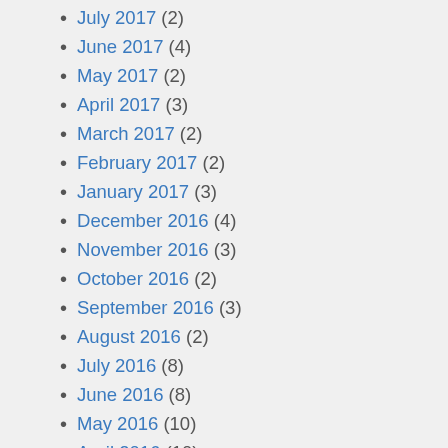July 2017 (2)
June 2017 (4)
May 2017 (2)
April 2017 (3)
March 2017 (2)
February 2017 (2)
January 2017 (3)
December 2016 (4)
November 2016 (3)
October 2016 (2)
September 2016 (3)
August 2016 (2)
July 2016 (8)
June 2016 (8)
May 2016 (10)
April 2016 (10)
March 2016 (9)
February 2016 (9)
January 2016 (12)
December 2015 (11)
November 2015 (8)
October 2015 (10)